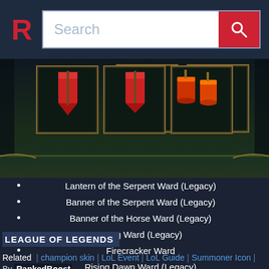Search
[Figure (screenshot): Three game item icons displayed in dark frames — two red banners and a pair of red lanterns — set against a dark fantasy game background with decorative border at bottom]
Lantern of the Serpent Ward (Legacy)
Banner of the Serpent Ward (Legacy)
Banner of the Horse Ward (Legacy)
Gong Ward (Legacy)
Firecracker Ward
Rising Dawn Ward (Legacy)
LEAGUE OF LEGENDS
Related | champion skin | LoL Event | LoL Guide | Summoner Icon
By RankedBoost